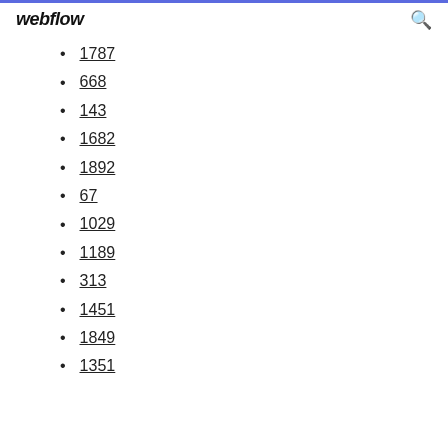webflow
1787
668
143
1682
1892
67
1029
1189
313
1451
1849
1351